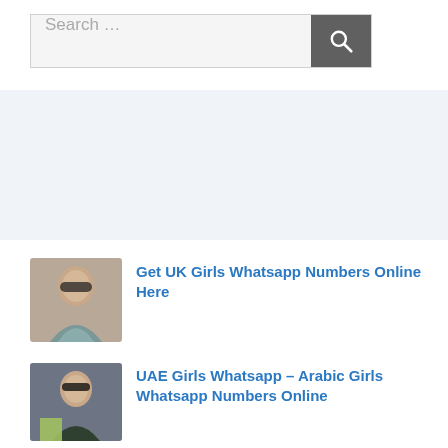[Figure (screenshot): Search bar with text input field showing 'Search ...' placeholder and a dark grey search button with magnifying glass icon]
[Figure (photo): Thumbnail photo of a young woman with long dark hair wearing a patterned top]
Get UK Girls Whatsapp Numbers Online Here
[Figure (photo): Thumbnail photo of a young woman with long dark hair]
UAE Girls Whatsapp – Arabic Girls Whatsapp Numbers Online